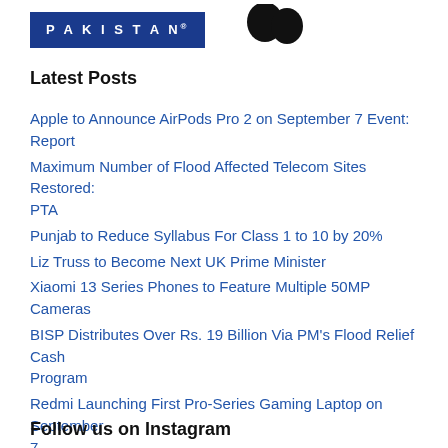[Figure (logo): ProPakistani logo — blue rectangle with text PAKISTAN® and partial bird/logo icon to the right]
Latest Posts
Apple to Announce AirPods Pro 2 on September 7 Event: Report
Maximum Number of Flood Affected Telecom Sites Restored: PTA
Punjab to Reduce Syllabus For Class 1 to 10 by 20%
Liz Truss to Become Next UK Prime Minister
Xiaomi 13 Series Phones to Feature Multiple 50MP Cameras
BISP Distributes Over Rs. 19 Billion Via PM's Flood Relief Cash Program
Redmi Launching First Pro-Series Gaming Laptop on September 7
USD to PKR – Dollar Rate in Pakistan – 5 September 2022
At Least Six Killed by Earthquake in Afghanistan
Punjab Govt to Regulate Affairs of Private Schools With New Law
Follow us on Instagram